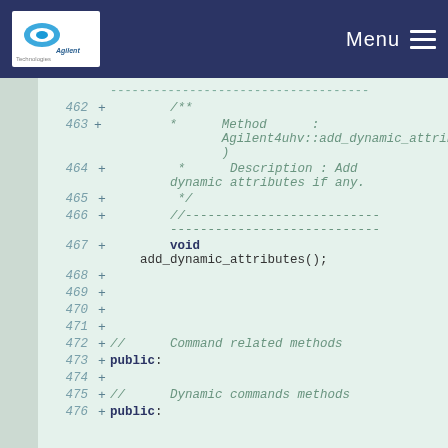Menu
462 + /**
463 + * Method : Agilent4uhv::add_dynamic_attributes()
464 + * Description : Add dynamic attributes if any.
465 + * */
466 + //-------------------------------------------------------------
467 + void add_dynamic_attributes();
468 +
469 +
470 +
471 +
472 + // Command related methods
473 + public:
474 +
475 + // Dynamic commands methods
476 + public: